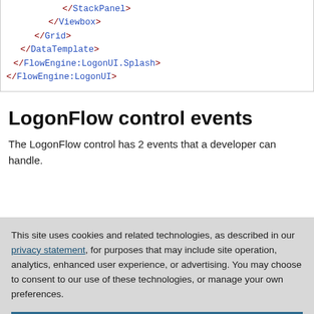[Figure (screenshot): Code block showing XML closing tags: </StackPanel>, </Viewbox>, </Grid>, </DataTemplate>, </FlowEngine:LogonUI.Splash>, </FlowEngine:LogonUI>]
LogonFlow control events
The LogonFlow control has 2 events that a developer can handle.
This site uses cookies and related technologies, as described in our privacy statement, for purposes that may include site operation, analytics, enhanced user experience, or advertising. You may choose to consent to our use of these technologies, or manage your own preferences.
Accept Cookies
More Information
Privacy Policy | Powered by: TrustArc
for later user and navigate to the main page of the application.